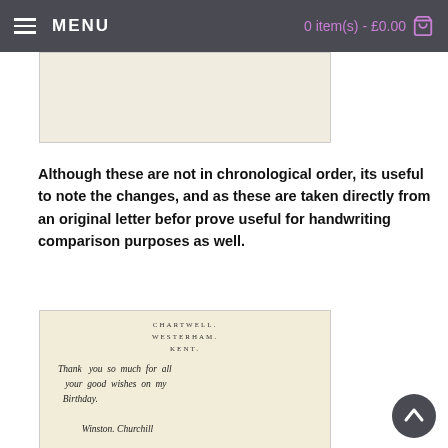MENU  0 item(s) - £0.00
[Figure (photo): Top portion of a handwritten letter on cream paper, partially visible]
Although these are not in chronological order, its useful to note the changes, and as these are taken directly from an original letter before prove useful for handwriting comparison purposes as well.
[Figure (photo): Handwritten letter on cream letterhead paper reading: CHARTWELL. WESTERHAM. KENT. with handwritten text: Thank you so much for all your good wishes on my Birthday. Winston Churchill (signature)]